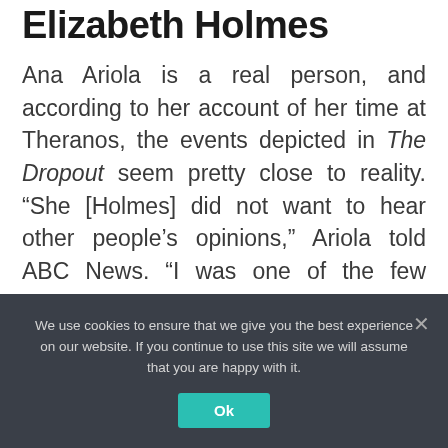Elizabeth Holmes
Ana Ariola is a real person, and according to her account of her time at Theranos, the events depicted in The Dropout seem pretty close to reality. “She [Holmes] did not want to hear other people’s opinions,” Ariola told ABC News. “I was one of the few people that stood up to her. I’ve told her ‘no’ on numerous occasions.”
The news outlet then described the Theranos
We use cookies to ensure that we give you the best experience on our website. If you continue to use this site we will assume that you are happy with it.